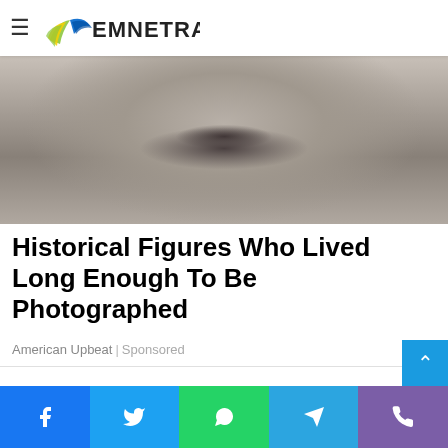EMNETRA
[Figure (photo): Close-up grayscale photograph of a historical figure's lower face and chin area]
Historical Figures Who Lived Long Enough To Be Photographed
American Upbeat | Sponsored
[Figure (other): White advertisement/content area below divider]
Social share buttons: Facebook, Twitter, WhatsApp, Telegram, Phone